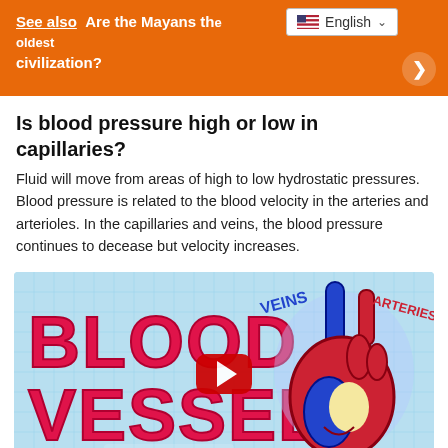See also  Are the Mayans the oldest civilization?
Is blood pressure high or low in capillaries?
Fluid will move from areas of high to low hydrostatic pressures. Blood pressure is related to the blood velocity in the arteries and arterioles. In the capillaries and veins, the blood pressure continues to decease but velocity increases.
[Figure (illustration): YouTube video thumbnail showing cartoon-style illustration titled BLOOD VESSELS with a colorful heart diagram labeling VEINS and ARTERIES. Operation Ouch logo at bottom.]